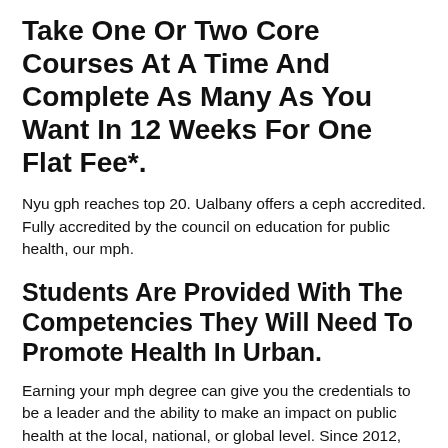Take One Or Two Core Courses At A Time And Complete As Many As You Want In 12 Weeks For One Flat Fee*.
Nyu gph reaches top 20. Ualbany offers a ceph accredited. Fully accredited by the council on education for public health, our mph.
Students Are Provided With The Competencies They Will Need To Promote Health In Urban.
Earning your mph degree can give you the credentials to be a leader and the ability to make an impact on public health at the local, national, or global level. Since 2012, the mailman school of public health has followed a master of public health (mph) curriculum that is now the standard for public health education. According to the 2023 rankings from u.s.